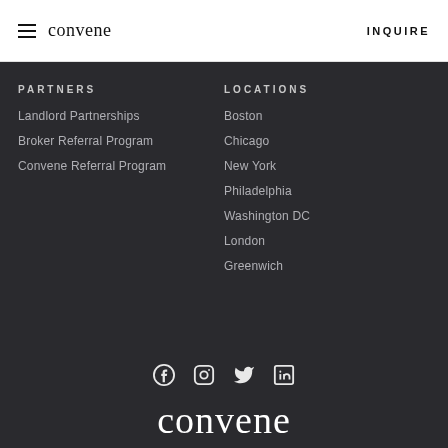convene  INQUIRE
PARTNERS
Landlord Partnerships
Broker Referral Program
Convene Referral Program
LOCATIONS
Boston
Chicago
New York
Philadelphia
Washington DC
London
Greenwich
[Figure (infographic): Social media icons: Facebook, Instagram, Twitter, LinkedIn]
convene